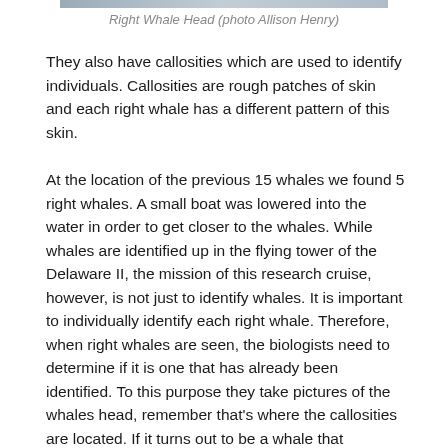[Figure (photo): Partial view of a Right Whale Head photograph at the top of the page]
Right Whale Head (photo Allison Henry)
They also have callosities which are used to identify individuals. Callosities are rough patches of skin and each right whale has a different pattern of this skin.
At the location of the previous 15 whales we found 5 right whales. A small boat was lowered into the water in order to get closer to the whales. While whales are identified up in the flying tower of the Delaware II, the mission of this research cruise, however, is not just to identify whales. It is important to individually identify each right whale. Therefore, when right whales are seen, the biologists need to determine if it is one that has already been identified. To this purpose they take pictures of the whales head, remember that's where the callosities are located. If it turns out to be a whale that scientists haven't identified, or a new calf, a biopsy is taken of the